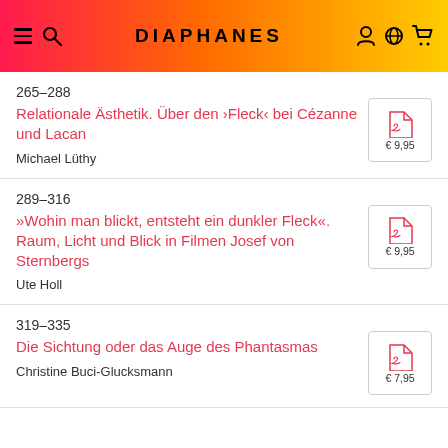DIAPHANES
265–288
Relationale Ästhetik. Über den ›Fleck‹ bei Cézanne und Lacan
Michael Lüthy
€ 9,95
289–316
»Wohin man blickt, entsteht ein dunkler Fleck«. Raum, Licht und Blick in Filmen Josef von Sternbergs
Ute Holl
€ 9,95
319–335
Die Sichtung oder das Auge des Phantasmas
Christine Buci-Glucksmann
€ 7,95